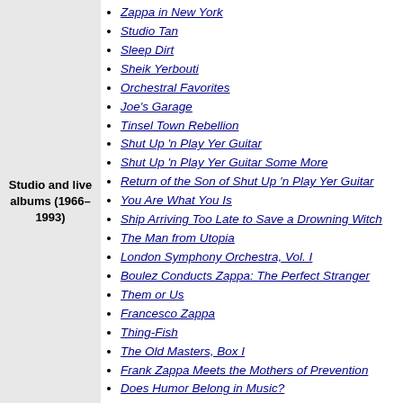Studio and live albums (1966–1993)
Zappa in New York
Studio Tan
Sleep Dirt
Sheik Yerbouti
Orchestral Favorites
Joe's Garage
Tinsel Town Rebellion
Shut Up 'n Play Yer Guitar
Shut Up 'n Play Yer Guitar Some More
Return of the Son of Shut Up 'n Play Yer Guitar
You Are What You Is
Ship Arriving Too Late to Save a Drowning Witch
The Man from Utopia
London Symphony Orchestra, Vol. I
Boulez Conducts Zappa: The Perfect Stranger
Them or Us
Francesco Zappa
Thing-Fish
The Old Masters, Box I
Frank Zappa Meets the Mothers of Prevention
Does Humor Belong in Music?